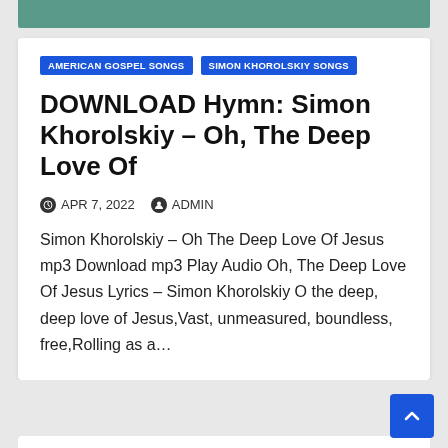[Figure (photo): Partial top edge of an image showing a teal/green background, cropped at top of card]
AMERICAN GOSPEL SONGS
SIMON KHOROLSKIY SONGS
DOWNLOAD Hymn: Simon Khorolskiy – Oh, The Deep Love Of
APR 7, 2022   ADMIN
Simon Khorolskiy – Oh The Deep Love Of Jesus mp3 Download mp3 Play Audio Oh, The Deep Love Of Jesus Lyrics – Simon Khorolskiy O the deep, deep love of Jesus,Vast, unmeasured, boundless, free,Rolling as a…